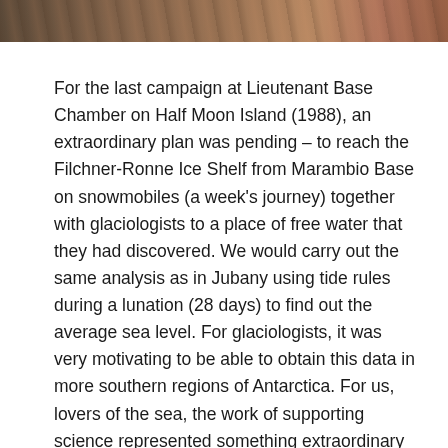[Figure (photo): Partial photograph visible at top of page, showing what appears to be an outdoor scene with warm brown and reddish tones.]
For the last campaign at Lieutenant Base Chamber on Half Moon Island (1988), an extraordinary plan was pending – to reach the Filchner-Ronne Ice Shelf from Marambio Base on snowmobiles (a week's journey) together with glaciologists to a place of free water that they had discovered. We would carry out the same analysis as in Jubany using tide rules during a lunation (28 days) to find out the average sea level. For glaciologists, it was very motivating to be able to obtain this data in more southern regions of Antarctica. For us, lovers of the sea, the work of supporting science represented something extraordinary and of great impact even beyond our country.
The plan failed. I think we could have tried it in 1990,